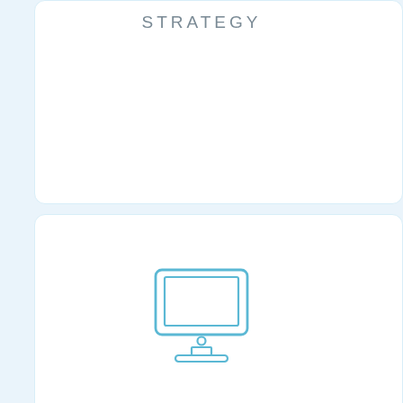STRATEGY
[Figure (illustration): A light blue outline icon of a desktop computer monitor with a small circle (power button) on the front bezel and a stand/base.]
MONITORING AND OPTIMIZING AD CAMPAIGNS PERFORMANCE